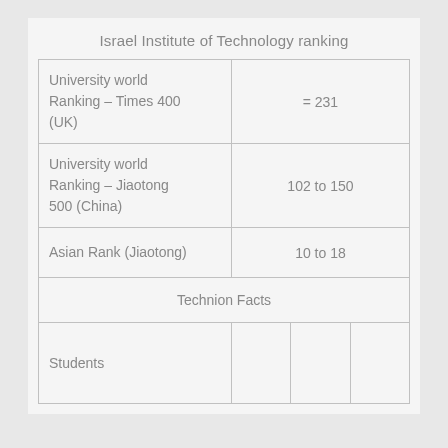Israel Institute of Technology ranking
| University world Ranking – Times 400 (UK) | = 231 |
| University world Ranking – Jiaotong 500 (China) | 102 to 150 |
| Asian Rank (Jiaotong) | 10 to 18 |
| Technion Facts |  |
| Students |  |  |  |